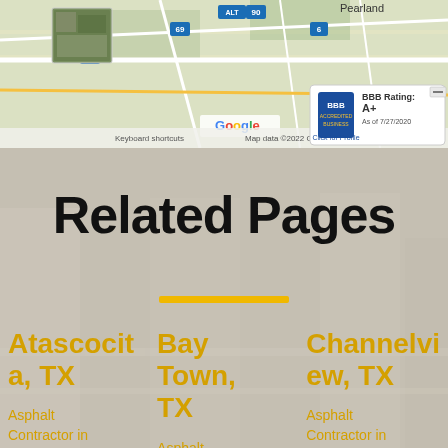[Figure (screenshot): Google Maps screenshot showing Houston area with highway markers (ALT, 90, 69, 59, 6), showing Pearland area. A BBB Accredited Business badge overlay shows BBB Rating: A+, As of 7/27/2020, Click for Profile. There is also a small aerial photo thumbnail in upper left corner of the map.]
Related Pages
Atascocita, TX
Asphalt Contractor in Atascocita, TX
Bay Town, TX
Asphalt Contractor in Bay Town, TX
Channelview, TX
Asphalt Contractor in Channelview, TX